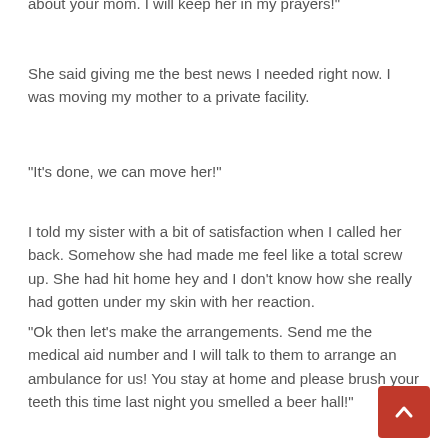about your mom. I will keep her in my prayers!"
She said giving me the best news I needed right now. I was moving my mother to a private facility.
“It's done, we can move her!”
I told my sister with a bit of satisfaction when I called her back. Somehow she had made me feel like a total screw up. She had hit home hey and I don't know how she really had gotten under my skin with her reaction.
“Ok then let’s make the arrangements. Send me the medical aid number and I will talk to them to arrange an ambulance for us! You stay at home and please brush your teeth this time last night you smelled a beer hall!”